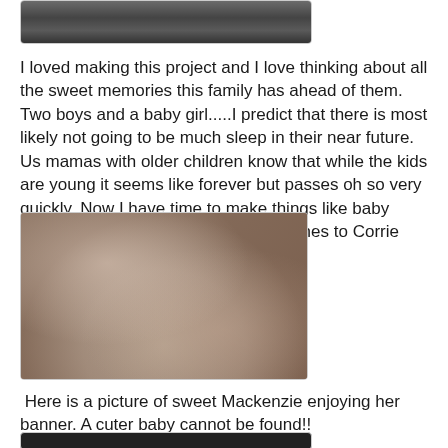[Figure (photo): Partial view of wooden background photo at top, cropped]
I loved making this project and I love thinking about all the sweet memories this family has ahead of them. Two boys and a baby girl.....I predict that there is most likely not going to be much sleep in their near future.  Us mamas with older children know that while the kids are young it seems like forever but passes oh so very quickly. Now I have time to make things like baby banners haha. Congrats and best wishes to Corrie and family.
[Figure (photo): Close-up photo of translucent/sheer ribbon or fabric on a wooden surface]
Here is a picture of sweet Mackenzie enjoying her banner. A cuter baby cannot be found!!
[Figure (photo): Bottom partial photo, dark background, partially visible]